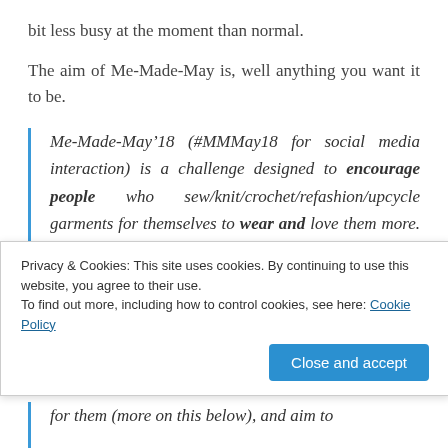bit less busy at the moment than normal.
The aim of Me-Made-May is, well anything you want it to be.
Me-Made-May’18 (#MMMay18 for social media interaction) is a challenge designed to encourage people who sew/knit/crochet/refashion/upcycle garments for themselves to wear and love them more. This challenge works on
Privacy & Cookies: This site uses cookies. By continuing to use this website, you agree to their use.
To find out more, including how to control cookies, see here: Cookie Policy
for them (more on this below), and aim to